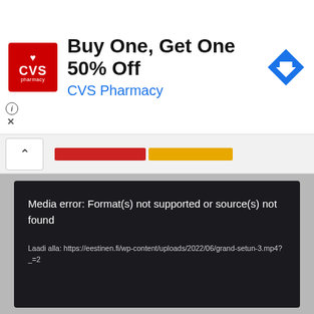[Figure (screenshot): CVS Pharmacy ad banner: red CVS pharmacy logo on left, text 'Buy One, Get One 50% Off' in bold black, 'CVS Pharmacy' in blue below, blue navigation arrow icon on right]
[Figure (screenshot): Browser UI strip with chevron-up button and two colored progress bars (red and yellow/gold)]
[Figure (screenshot): Dark video player box showing media error message: 'Media error: Format(s) not supported or source(s) not found' with download link 'Laadi alla: https://eestinen.fi/wp-content/uploads/2022/06/grand-setun-3.mp4?_=2']
Kommentaarid